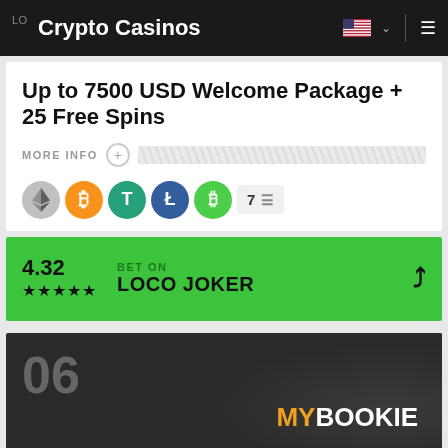Crypto Casinos
Up to 7500 USD Welcome Package + 25 Free Spins
MORE INFO
[Figure (infographic): Row of cryptocurrency icons: Ethereum (grey diamond), Bitcoin (orange), Tether (green T), Litecoin (blue L), Bitcoin Cash (green B), plus a badge showing '7' with list icon]
4.32 ★★★★★ BET ON LOCO JOKER
[Figure (infographic): Dark card showing number 06 and MYBOOKIE logo with MY in orange and BOOKIE in white]
MYBOOKIE